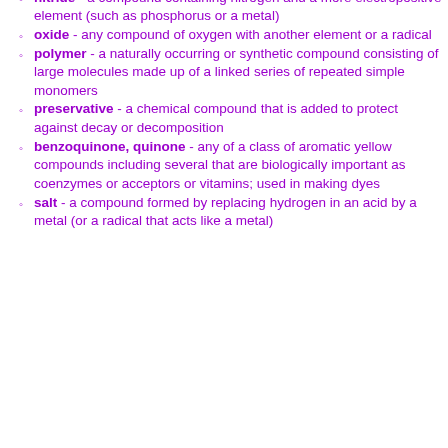important in cancer treatment
nitride - a compound containing nitrogen and a more electropositive element (such as phosphorus or a metal)
oxide - any compound of oxygen with another element or a radical
polymer - a naturally occurring or synthetic compound consisting of large molecules made up of a linked series of repeated simple monomers
preservative - a chemical compound that is added to protect against decay or decomposition
benzoquinone, quinone - any of a class of aromatic yellow compounds including several that are biologically important as coenzymes or acceptors or vitamins; used in making dyes
salt - a compound formed by replacing hydrogen in an acid by a metal (or a radical that acts like a metal)